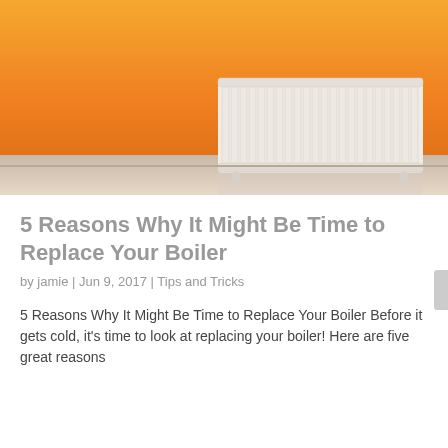[Figure (photo): A white radiator mounted on an orange wall with a light-colored floor reflection below.]
5 Reasons Why It Might Be Time to Replace Your Boiler
by jamie | Jun 9, 2017 | Tips and Tricks
5 Reasons Why It Might Be Time to Replace Your Boiler Before it gets cold, it's time to look at replacing your boiler! Here are five great reasons